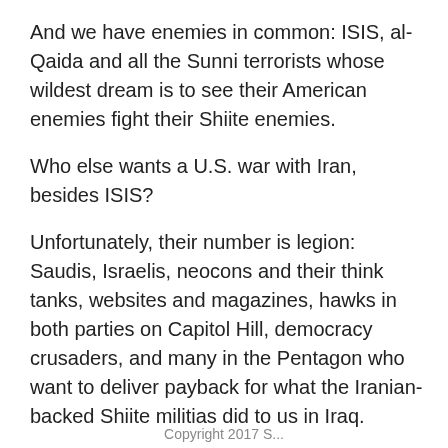And we have enemies in common: ISIS, al-Qaida and all the Sunni terrorists whose wildest dream is to see their American enemies fight their Shiite enemies.
Who else wants a U.S. war with Iran, besides ISIS?
Unfortunately, their number is legion: Saudis, Israelis, neocons and their think tanks, websites and magazines, hawks in both parties on Capitol Hill, democracy crusaders, and many in the Pentagon who want to deliver payback for what the Iranian-backed Shiite militias did to us in Iraq.
President Trump is key. If he does the War Party's bidding, that will be his legacy, as the Iraq War is the legacy of George W. Bush.
Copyright 2017 S...